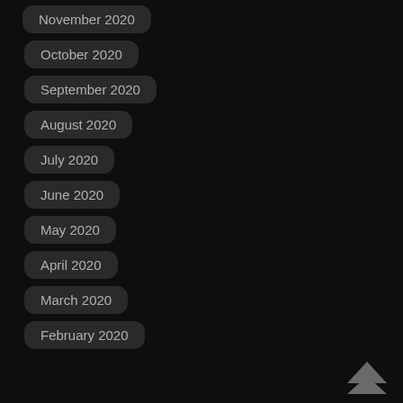November 2020
October 2020
September 2020
August 2020
July 2020
June 2020
May 2020
April 2020
March 2020
February 2020
[Figure (illustration): Back to top arrow icon in dark gray]